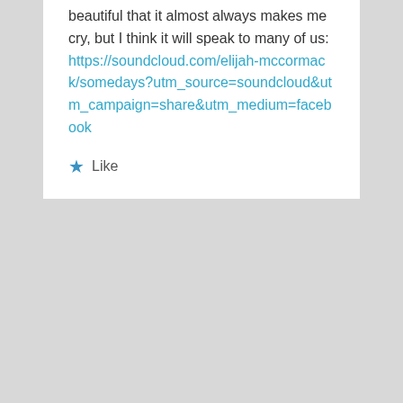beautiful that it almost always makes me cry, but I think it will speak to many of us: https://soundcloud.com/elijah-mccormack/somedays?utm_source=soundcloud&utm_campaign=share&utm_medium=facebook
★ Like
rozgkeith on January 23, 2015 at 2:57 pm said:
Wow!! Beautiful.
★ Like